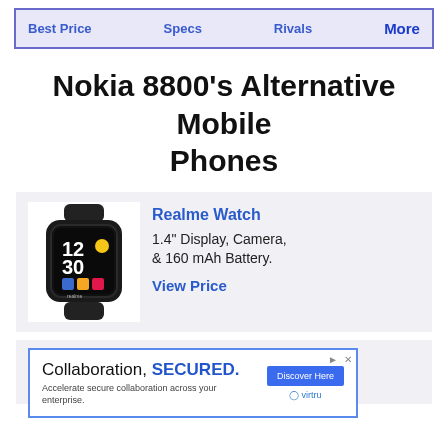Best Price  Specs  Rivals  More
Nokia 8800's Alternative Mobile Phones
[Figure (photo): Realme Watch smartwatch showing clock face with 12:30 time, colorful app icons, dark band]
Realme Watch
1.4" Display, Camera, & 160 mAh Battery.
View Price
[Figure (photo): Partial view of Xiaomi Watch Color with dark blue band]
Xiaomi Watch Color
[Figure (screenshot): Advertisement banner: Collaboration, SECURED. Accelerate secure collaboration across your enterprise. Discover Here. Virtru logo.]